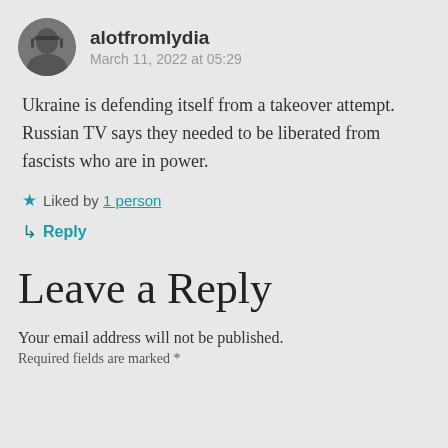alotfromlydia
March 11, 2022 at 05:29
Ukraine is defending itself from a takeover attempt. Russian TV says they needed to be liberated from fascists who are in power.
★ Liked by 1 person
↳ Reply
Leave a Reply
Your email address will not be published.
Required fields are marked *